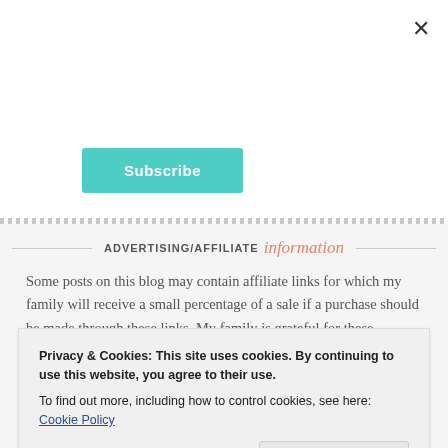[Figure (screenshot): Subscribe button — teal/turquoise rounded rectangle button with white text 'Subscribe']
ADVERTISING/AFFILIATE information
Some posts on this blog may contain affiliate links for which my family will receive a small percentage of a sale if a purchase should be made through these links. My family is grateful for these purchases as they help support our dreams and help keep this blog alive. Occasionally I may also receive products in exchange for a review. If you are
Privacy & Cookies: This site uses cookies. By continuing to use this website, you agree to their use.
To find out more, including how to control cookies, see here: Cookie Policy
both blogging and income purposes. This is a personal blog